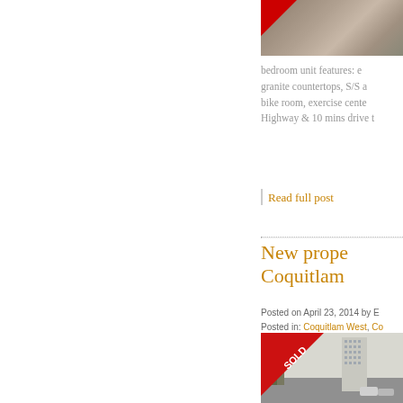[Figure (photo): Property photo with SOLD banner, partially visible at top]
bedroom unit features: e... granite countertops, S/S a... bike room, exercise cente... Highway & 10 mins drive t...
Read full post
New prope... Coquitlam...
Posted on April 23, 2014 by E... Posted in: Coquitlam West, Co...
[Figure (photo): High-rise building photo with red SOLD diagonal banner overlay]